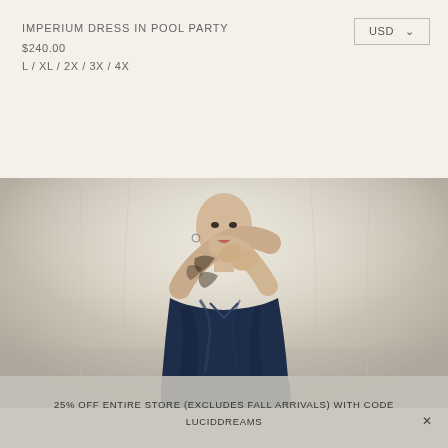IMPERIUM DRESS IN POOL PARTY
$240.00
L / XL / 2X / 3X / 4X
USD ∨
[Figure (photo): A model with shaved head and tattoos wearing a dark navy blue patterned short-sleeve dress, arms raised, posing against a draped cream/beige fabric backdrop.]
25% OFF ENTIRE STORE (EXCLUDES FALL ARRIVALS) WITH CODE LUCIDDREAMS